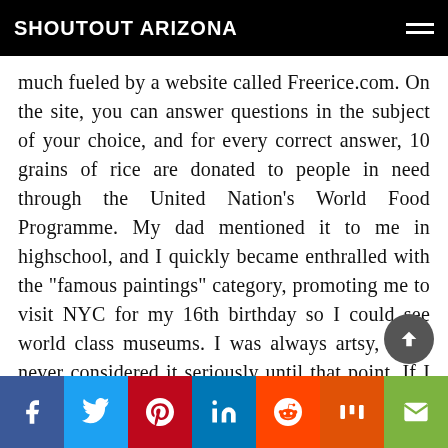SHOUTOUT ARIZONA
much fueled by a website called Freerice.com. On the site, you can answer questions in the subject of your choice, and for every correct answer, 10 grains of rice are donated to people in need through the United Nation's World Food Programme. My dad mentioned it to me in highschool, and I quickly became enthralled with the “famous paintings” category, promoting me to visit NYC for my 16th birthday so I could see world class museums. I was always artsy, but I never considered it seriously until that point. If I hadn’t used Freerice, I may have chosen a totally different path from the arts!